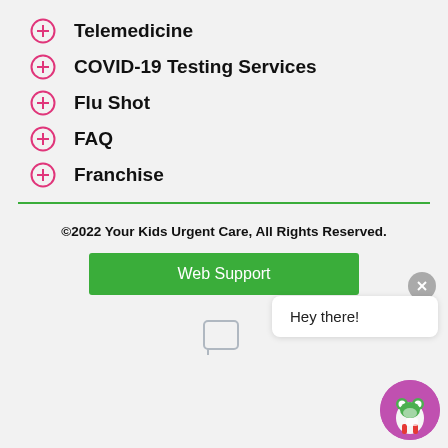Telemedicine
COVID-19 Testing Services
Flu Shot
FAQ
Franchise
©2022 Your Kids Urgent Care, All Rights Reserved.
Web Support
Hey there!